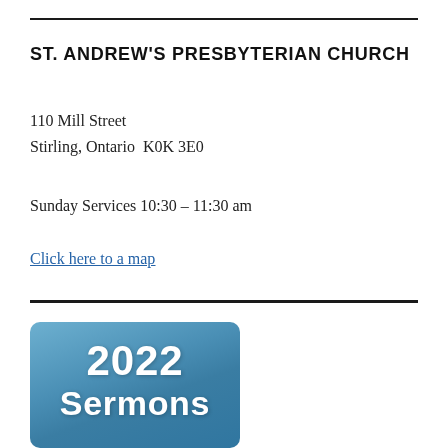ST. ANDREW'S PRESBYTERIAN CHURCH
110 Mill Street
Stirling, Ontario  K0K 3E0
Sunday Services 10:30 – 11:30 am
Click here to a map
[Figure (illustration): Blue rounded-rectangle banner showing '2022 Sermons' in large white bold text]